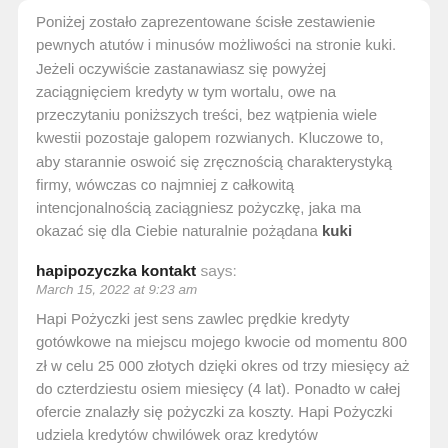Poniżej zostało zaprezentowane ścisłe zestawienie pewnych atutów i minusów możliwości na stronie kuki. Jeżeli oczywiście zastanawiasz się powyżej zaciągnięciem kredyty w tym wortalu, owe na przeczytaniu poniższych treści, bez wątpienia wiele kwestii pozostaje galopem rozwianych. Kluczowe to, aby starannie oswoić się zręcznością charakterystyką firmy, wówczas co najmniej z całkowitą intencjonalnością zaciągniesz pożyczkę, jaka ma okazać się dla Ciebie naturalnie pożądana kuki pożyczka.
hapipozyczka kontakt says:
March 15, 2022 at 9:23 am
Hapi Pożyczki jest sens zawlec prędkie kredyty gotówkowe na miejscu mojego kwocie od momentu 800 zł w celu 25 000 złotych dzięki okres od trzy miesięcy aż do czterdziestu osiem miesięcy (4 lat). Ponadto w całej ofercie znalazły się pożyczki za koszty. Hapi Pożyczki udziela kredytów chwilówek oraz kredytów